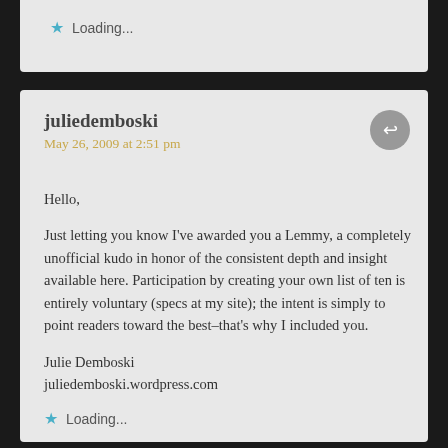Loading...
juliedemboski
May 26, 2009 at 2:51 pm
Hello,

Just letting you know I've awarded you a Lemmy, a completely unofficial kudo in honor of the consistent depth and insight available here. Participation by creating your own list of ten is entirely voluntary (specs at my site); the intent is simply to point readers toward the best–that's why I included you.

Julie Demboski
juliedemboski.wordpress.com
Loading...